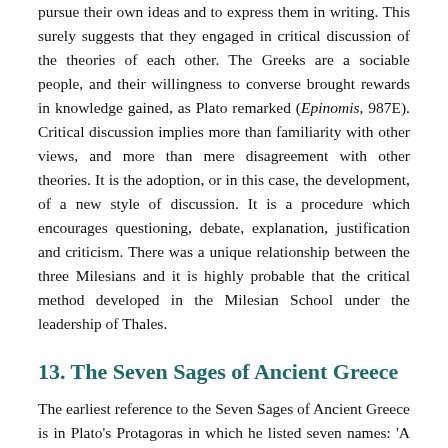pursue their own ideas and to express them in writing. This surely suggests that they engaged in critical discussion of the theories of each other. The Greeks are a sociable people, and their willingness to converse brought rewards in knowledge gained, as Plato remarked (Epinomis, 987E). Critical discussion implies more than familiarity with other views, and more than mere disagreement with other theories. It is the adoption, or in this case, the development, of a new style of discussion. It is a procedure which encourages questioning, debate, explanation, justification and criticism. There was a unique relationship between the three Milesians and it is highly probable that the critical method developed in the Milesian School under the leadership of Thales.
13. The Seven Sages of Ancient Greece
The earliest reference to the Seven Sages of Ancient Greece is in Plato's Protagoras in which he listed seven names: 'A man's ability to utter such remarks [notable, short and compressed] is